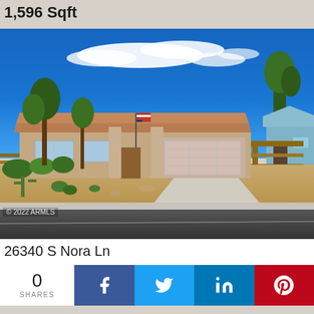1,596 Sqft
[Figure (photo): Exterior photo of a single-story ranch-style home with tan/brick facade, tile roof, two-car garage, desert landscaping with cacti and shrubs, American flag, and blue sky with wispy clouds. Neighbor's blue house visible on right.]
© 2022 ARMLS
26340 S Nora Ln
0 SHARES
Facebook share button
Twitter share button
LinkedIn share button
Pinterest share button